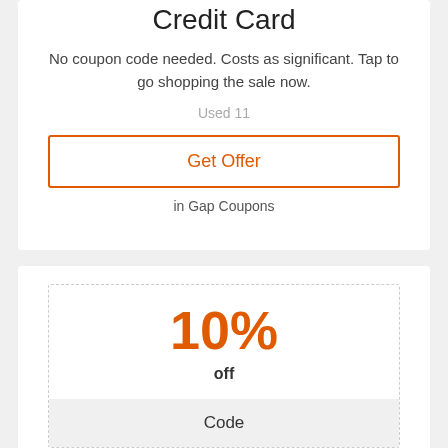Credit Card
No coupon code needed. Costs as significant. Tap to go shopping the sale now.
Used 11
Get Offer
in Gap Coupons
10%
off
Code
Additional 10% Off Your Order
Tap offer to duplicate the discount coupon code. Keep in mind to paste code when you have a look at. Online just